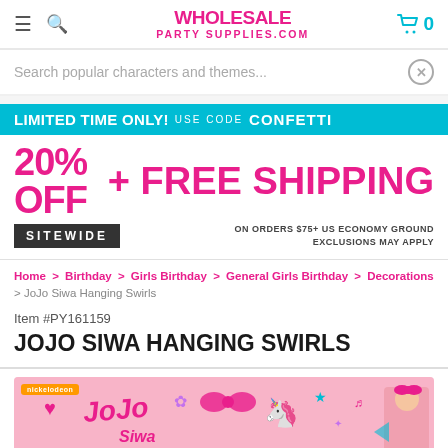WHOLESALE PARTY SUPPLIES.COM
Search popular characters and themes...
[Figure (infographic): Promotional banner: LIMITED TIME ONLY! USE CODE CONFETTI — 20% OFF + FREE SHIPPING SITEWIDE ON ORDERS $75+ US ECONOMY GROUND EXCLUSIONS MAY APPLY]
Home > Birthday > Girls Birthday > General Girls Birthday > Decorations > JoJo Siwa Hanging Swirls
Item #PY161159
JOJO SIWA HANGING SWIRLS
[Figure (photo): JoJo Siwa Hanging Swirls product image on pink background with nickelodeon badge, showing colorful hanging decorations with hearts, bows, unicorns and JoJo Siwa branding]